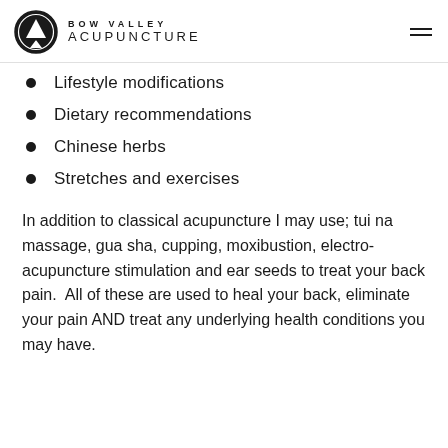BOW VALLEY ACUPUNCTURE
Lifestyle modifications
Dietary recommendations
Chinese herbs
Stretches and exercises
In addition to classical acupuncture I may use; tui na massage, gua sha, cupping, moxibustion, electro-acupuncture stimulation and ear seeds to treat your back pain.  All of these are used to heal your back, eliminate your pain AND treat any underlying health conditions you may have.